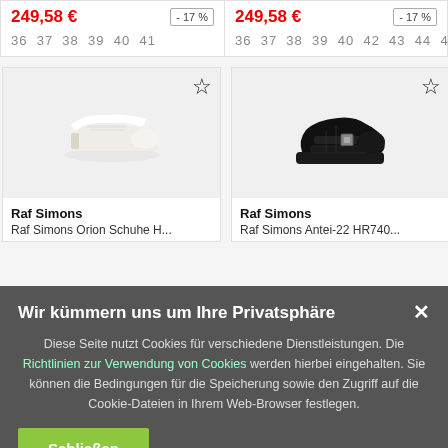249,58 € - 17%
36 37 38 39 40 41
249,58 € - 17%
36 37 38 39 40 42 43 44 4
[Figure (photo): White low-top sneaker (Raf Simons Orion) on light grey background]
Raf Simons
Raf Simons Orion Schuhe H...
[Figure (photo): Black chunky sneaker with buckles (Raf Simons Antei-22 HR740) on light grey background]
Raf Simons
Raf Simons Antei-22 HR740...
Wir kümmern uns um Ihre Privatsphäre
Diese Seite nutzt Cookies für verschiedene Dienstleistungen. Die Richtlinien zur Verwendung von Cookies werden hierbei eingehalten. Sie können die Bedingungen für die Speicherung sowie den Zugriff auf die Cookie-Dateien in Ihrem Web-Browser festlegen.
Schließen